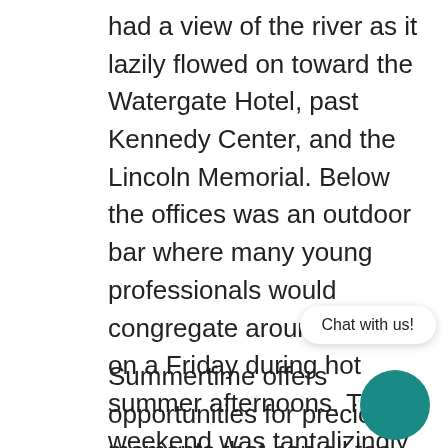had a view of the river as it lazily flowed on toward the Watergate Hotel, past Kennedy Center, and the Lincoln Memorial. Below the offices was an outdoor bar where many young professionals would congregate around 4:00PM on a Friday during hot summer afternoons. The weekend was tantalizingly close, but there was often too much work to be done to partake in any happy hour refreshments.
Chat with us!
Summertime offers opportunities for precious moments that can all too eas slip through your fingers as you move